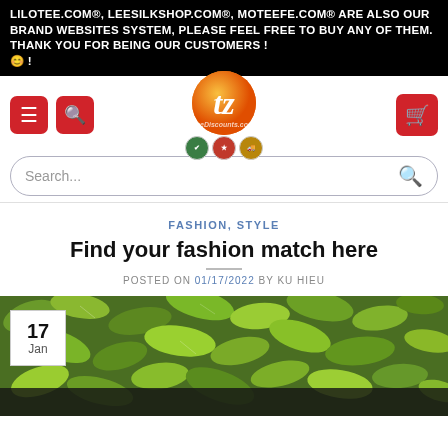LILOTEE.COM®, LEESILKSHOP.COM®, MOTEEFE.COM® ARE ALSO OUR BRAND WEBSITES SYSTEM, PLEASE FEEL FREE TO BUY ANY OF THEM. THANK YOU FOR BEING OUR CUSTOMERS ! 🙂 !
[Figure (logo): Navigation bar with hamburger menu icon, search icon, orange circular logo with tez symbol and trust badges, and shopping cart icon]
[Figure (other): Search bar with placeholder text 'Search...' and a search icon on the right]
FASHION, STYLE
Find your fashion match here
POSTED ON 01/17/2022 BY KU HIEU
[Figure (photo): Green leafy plant background image with a date badge showing '17 Jan' in the bottom left corner and a dark strip at the bottom]